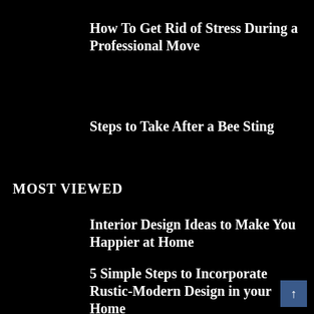How To Get Rid of Stress During a Professional Move
Steps to Take After a Bee Sting
MOST VIEWED
Interior Design Ideas to Make You Happier at Home
5 Simple Steps to Incorporate Rustic-Modern Design in your Home